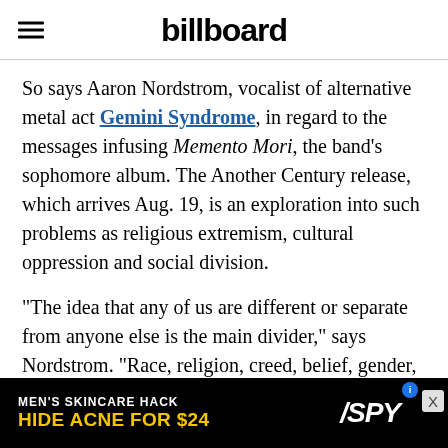billboard
So says Aaron Nordstrom, vocalist of alternative metal act Gemini Syndrome, in regard to the messages infusing Memento Mori, the band's sophomore album. The Another Century release, which arrives Aug. 19, is an exploration into such problems as religious extremism, cultural oppression and social division.
“The idea that any of us are different or separate from anyone else is the main divider,” says Nordstrom. “Race, religion, creed, belief, gender, etc., blah, blah, blah, all lead to people bickering or fighting or, more and more
[Figure (infographic): Advertisement banner: MEN'S SKINCARE HACK / HIDE ACNE FOR $24 with SPY logo on black background]